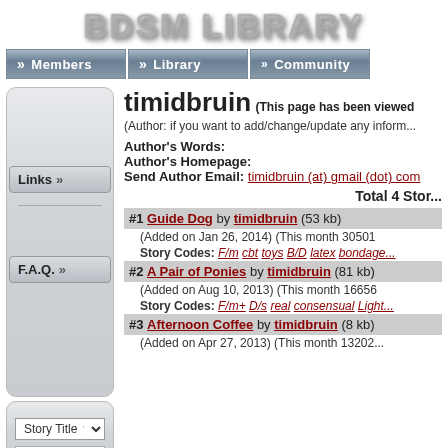BDSM LIBRARY
[Figure (screenshot): Navigation bar with Members, Library, Community buttons]
timidbruin (This page has been viewed...
(Author: if you want to add/change/update any inform...
Author's Words:
Author's Homepage:
Send Author Email: timidbruin (at) gmail (dot) com
Total 4 Stor...
Links »
F.A.Q. »
#1 Guide Dog by timidbruin (53 kb)
(Added on Jan 26, 2014) (This month 30501
Story Codes: F/m cbt toys B/D latex bondage...
#2 A Pair of Ponies by timidbruin (81 kb)
(Added on Aug 10, 2013) (This month 16656
Story Codes: F/m+ D/s real consensual Light...
#3 Afternoon Coffee by timidbruin (8 kb)
(Added on Apr 27, 2013) (This month 13202...
Story Title ▼